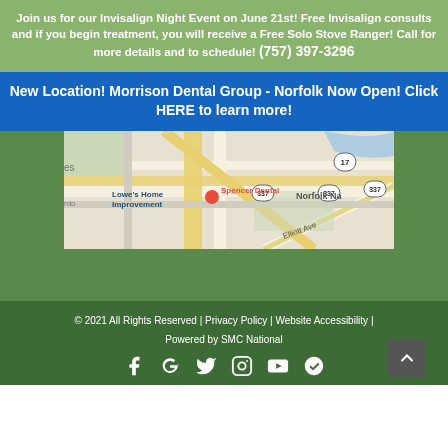Join us for our Invisalign Night Event on June 21st! Free Invisalign consults and if you begin treatment, you will receive a Free Solo Stove Ranger! Call for more details and to schedule! (757) 397-3296
New Location! Morrison Dental Group - Norfolk Now Open! Click HERE to learn more!
[Figure (map): Google map showing Spencer Dental location near Lowe's Home Improvement, with roads including Elliott Ave, route 337 and 17, Norfolk Na visible]
© 2021 All Rights Reserved | Privacy Policy | Website Accessibility | Powered by SMC National